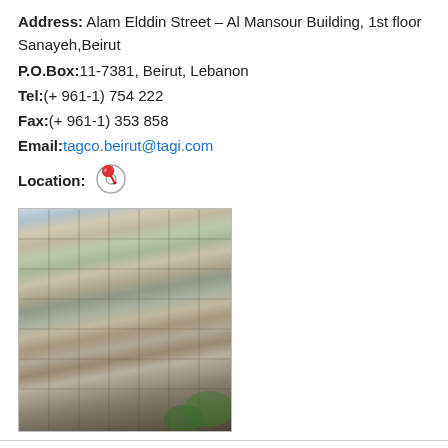Address: Alam Elddin Street – Al Mansour Building, 1st floor Sanayeh,Beirut
P.O.Box:11-7381, Beirut, Lebanon
Tel:(+ 961-1) 754 222
Fax:(+ 961-1) 353 858
Email:tagco.beirut@tagi.com
Location:
[Figure (photo): Building photo showing a multi-story residential/commercial building facade]
Beirut - AGIP
Address: Anise Tabbarah Street – Al Halabi Building, 1st floor Sanayeh.Beirut
P.O.Box:11-7381, Beirut, Lebanon
Tel:(+ 961-1) 753 222
Fax:(+ 961-1) 350548
Email:lebanon@agip.com
[Figure (photo): Partial building photo (cropped at bottom of page)]